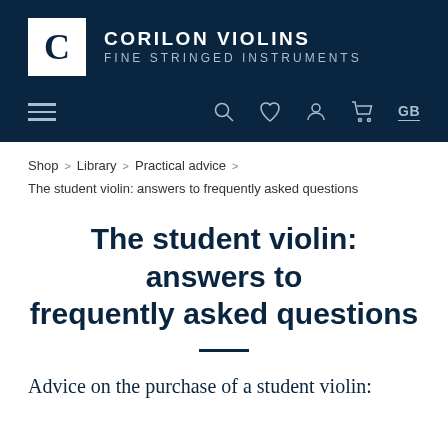CORILON VIOLINS FINE STRINGED INSTRUMENTS
Shop > Library > Practical advice > The student violin: answers to frequently asked questions
The student violin: answers to frequently asked questions
Advice on the purchase of a student violin: